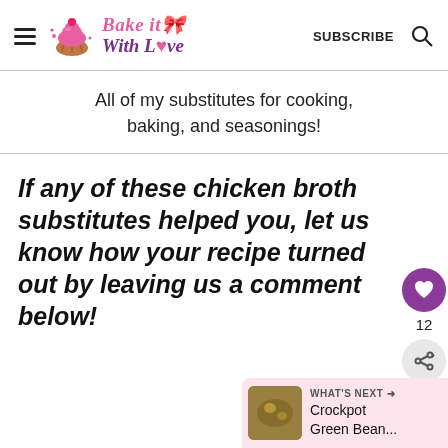Bake it With Love — SUBSCRIBE
All of my substitutes for cooking, baking, and seasonings!
If any of these chicken broth substitutes helped you, let us know how your recipe turned out by leaving us a comment below!
[Figure (screenshot): Social sidebar with heart/like button showing 12 likes and a share button]
[Figure (screenshot): What's Next panel with thumbnail and text: Crockpot Green Bean...]